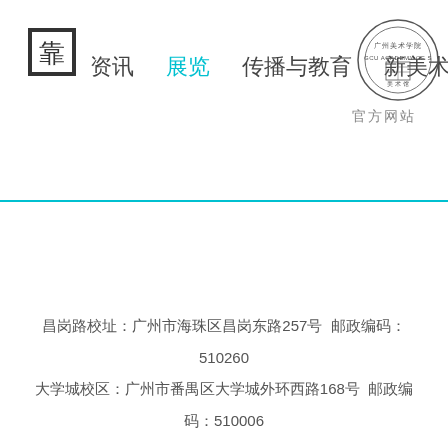[Figure (logo): Square logo with Chinese character inside a bordered box]
资讯  展览  传播与教育  新美术馆学研
[Figure (logo): Circular institutional seal/stamp of an academy]
官方网站
昌岗路校址：广州市海珠区昌岗东路257号  邮政编码：510260
大学城校区：广州市番禺区大学城外环西路168号  邮政编码：510006